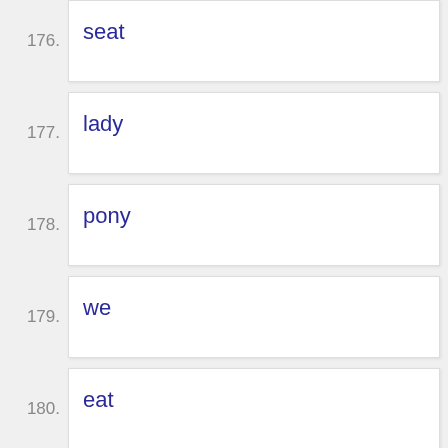176. seat
177. lady
178. pony
179. we
180. eat
181. man
182. need